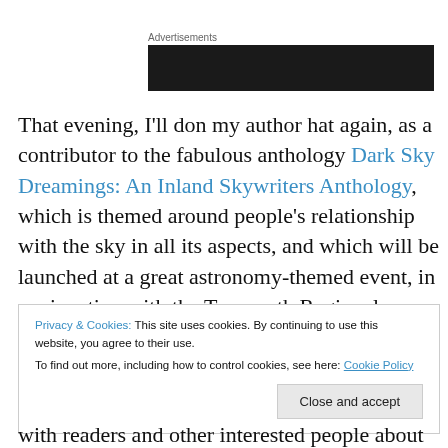Advertisements
[Figure (other): Dark advertisement banner block]
That evening, I'll don my author hat again, as a contributor to the fabulous anthology Dark Sky Dreamings: An Inland Skywriters Anthology, which is themed around people's relationship with the sky in all its aspects, and which will be launched at a great astronomy-themed event, in conjunction with the Tamworth Regional Astronomy Club.
Privacy & Cookies: This site uses cookies. By continuing to use this website, you agree to their use.
To find out more, including how to control cookies, see here: Cookie Policy
Close and accept
with readers and other interested people about their work.